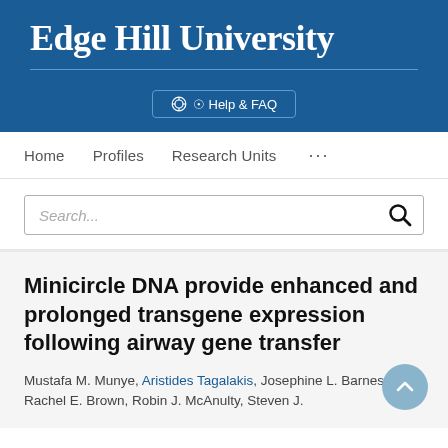Edge Hill University
Help & FAQ
Home   Profiles   Research Units   ...
Search...
Minicircle DNA provide enhanced and prolonged transgene expression following airway gene transfer
Mustafa M. Munye, Aristides Tagalakis, Josephine L. Barnes, Rachel E. Brown, Robin J. McAnulty, Steven J.